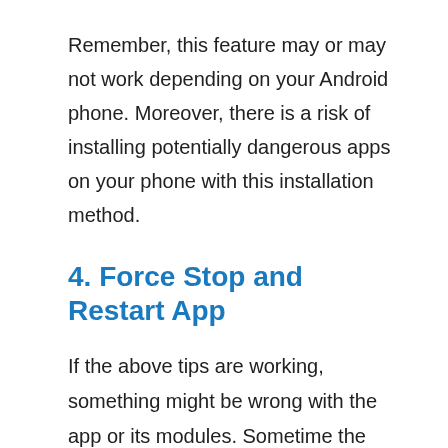Remember, this feature may or may not work depending on your Android phone. Moreover, there is a risk of installing potentially dangerous apps on your phone with this installation method.
4. Force Stop and Restart App
If the above tips are working, something might be wrong with the app or its modules. Sometime the app may get stuck and not respond when you tap. Here you can use force stop option to close and reopen the app.